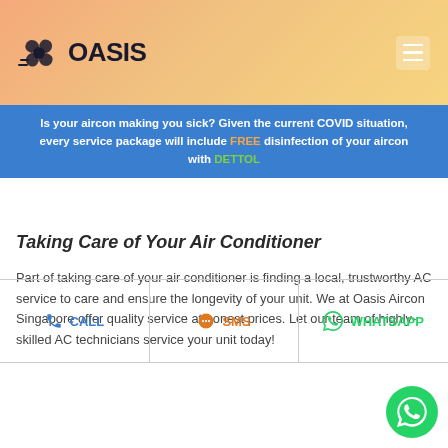Oasis Aircon
Is your aircon making you sick? Given the current COVID situation, every service package will include FREE disinfection of your aircon with DETTOL
Taking Care of Your Air Conditioner
Part of taking care of your air conditioner is finding a local, trustworthy AC service to care and ensure the longevity of your unit. We at Oasis Aircon Singapore offer quality service at honest prices. Let our team of highly-skilled AC technicians service your unit today!
CALL | SMS | WHATSAPP